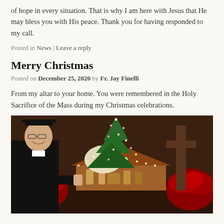of hope in every situation. That is why I am here with Jesus that He may bless you with His peace. Thank you for having responded to my call.
Posted in News | Leave a reply
Merry Christmas
Posted on December 25, 2020 by Fr. Jay Finelli
From my altar to your home. You were remembered in the Holy Sacrifice of the Mass during my Christmas celebrations.
[Figure (photo): A priest in black vestments and hat smiling beside a nativity scene, surrounded by red and white poinsettias and lit Christmas trees in a church setting.]